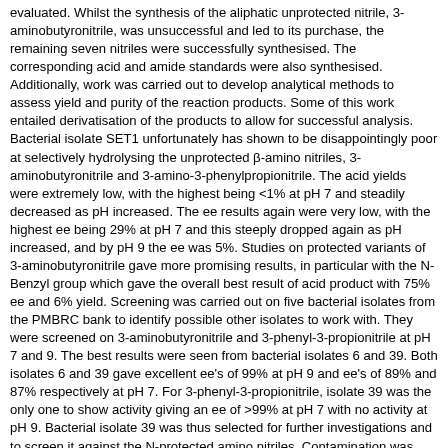evaluated. Whilst the synthesis of the aliphatic unprotected nitrile, 3-aminobutyronitrile, was unsuccessful and led to its purchase, the remaining seven nitriles were successfully synthesised. The corresponding acid and amide standards were also synthesised. Additionally, work was carried out to develop analytical methods to assess yield and purity of the reaction products. Some of this work entailed derivatisation of the products to allow for successful analysis. Bacterial isolate SET1 unfortunately has shown to be disappointingly poor at selectively hydrolysing the unprotected β-amino nitriles, 3-aminobutyronitrile and 3-amino-3-phenylpropionitrile. The acid yields were extremely low, with the highest being <1% at pH 7 and steadily decreased as pH increased. The ee results again were very low, with the highest ee being 29% at pH 7 and this steeply dropped again as pH increased, and by pH 9 the ee was 5%. Studies on protected variants of 3-aminobutyronitrile gave more promising results, in particular with the N-Benzyl group which gave the overall best result of acid product with 75% ee and 6% yield. Screening was carried out on five bacterial isolates from the PMBRC bank to identify possible other isolates to work with. They were screened on 3-aminobutyronitrile and 3-phenyl-3-propionitrile at pH 7 and 9. The best results were seen from bacterial isolates 6 and 39. Both isolates 6 and 39 gave excellent ee's of 99% at pH 9 and ee's of 89% and 87% respectively at pH 7. For 3-phenyl-3-propionitrile, isolate 39 was the only one to show activity giving an ee of >99% at pH 7 with no activity at pH 9. Bacterial isolate 39 was thus selected for further investigations and to screen it against the N-protected amino nitriles. Contamination was unfortunately discovered with isolates 6 and 39, and this placed on hold further work with these isolates. A novel nitrilase enzyme Nit1, was then acquired from the PMBRC isolate bank. Nit1 showed improved results with 3-ABN from the initial screen with 76% yield and 24 % (S) ee being observed. As for the N-protected variants, it only showed activity with the benzyl aliphatic nitrile. It encouragingly achieved ee's of 43% (S) at pH 7 and 4% (S) at pH 9 for this substrate. Some issues were experienced however with the presence of solvent and buffer from the biotransformations, possibly